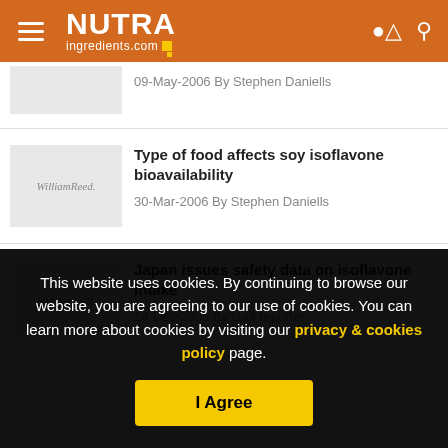[Figure (logo): NUTRAingredients.com logo on orange header with hamburger menu, person icon, and search icon]
09-May-2006 By Stephen Daniells
Type of food affects soy isoflavone bioavailability
30-Mar-2006 By Stephen Daniells
Japan issues safety data on isoflavone intake
14-Dec-2005 By staff reporter
This website uses cookies. By continuing to browse our website, you are agreeing to our use of cookies. You can learn more about cookies by visiting our privacy & cookies policy page.